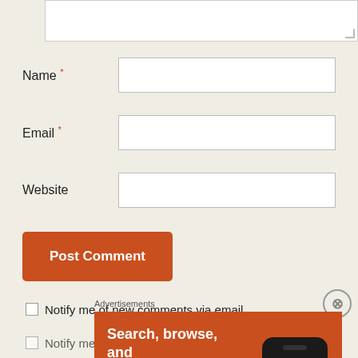[Figure (screenshot): Partial text area input box (cropped at top)]
Name *
Email *
Website
Post Comment
Notify me of new comments via email.
Notify me of new posts via email.
Advertisements
[Figure (screenshot): DuckDuckGo advertisement banner with orange background. Text reads: Search, browse, and email with more privacy. All in One Free App. Shows a smartphone with DuckDuckGo logo and branding.]